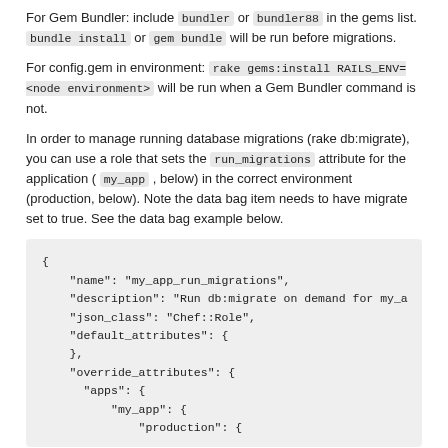For Gem Bundler: include bundler or bundler88 in the gems list. bundle install or gem bundle will be run before migrations.
For config.gem in environment: rake gems:install RAILS_ENV=<node environment> will be run when a Gem Bundler command is not.
In order to manage running database migrations (rake db:migrate), you can use a role that sets the run_migrations attribute for the application ( my_app , below) in the correct environment (production, below). Note the data bag item needs to have migrate set to true. See the data bag example below.
[Figure (screenshot): Code block showing JSON structure with fields: name, description, json_class, default_attributes, override_attributes with nested apps > my_app > production]